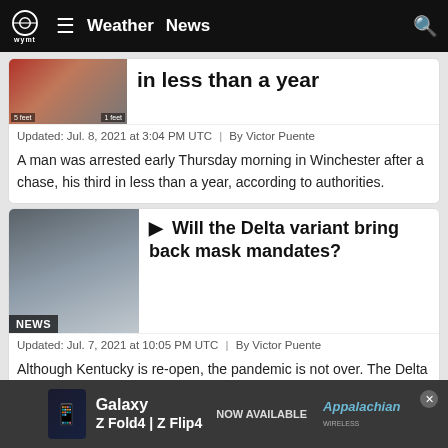WYMT Weather | News
in less than a year
Updated: Jul. 8, 2021 at 3:04 PM UTC  |  By Victor Puente
A man was arrested early Thursday morning in Winchester after a chase, his third in less than a year, according to authorities.
Will the Delta variant bring back mask mandates?
Updated: Jul. 7, 2021 at 10:05 PM UTC  |  By Victor Puente
Although Kentucky is re-open, the pandemic is not over. The Delta variant is spreading quickly, now accounting for half of the nation's COVID-19 cases.
[Figure (screenshot): Advertisement banner: Galaxy Z Fold4 | Z Flip4 - NOW AVAILABLE - Appalachian logo]